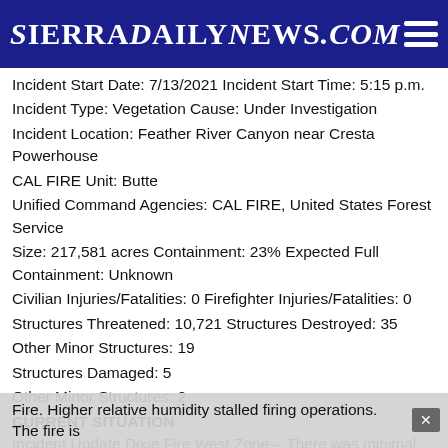SierraDailyNews.com
Incident Start Date: 7/13/2021 Incident Start Time: 5:15 p.m.
Incident Type: Vegetation Cause: Under Investigation
Incident Location: Feather River Canyon near Cresta Powerhouse
CAL FIRE Unit: Butte
Unified Command Agencies: CAL FIRE, United States Forest Service
Size: 217,581 acres Containment: 23% Expected Full Containment: Unknown
Civilian Injuries/Fatalities: 0 Firefighter Injuries/Fatalities: 0
Structures Threatened: 10,721 Structures Destroyed: 35
Other Minor Structures: 19
Structures Damaged: 5
Other Minor Structures: 2
CURRENT SITUATION
Incident Update Dixie Fire West Zone – There was minimal fire activity overnight on the Dixie
Fire. Higher relative humidity stalled firing operations. The fire is